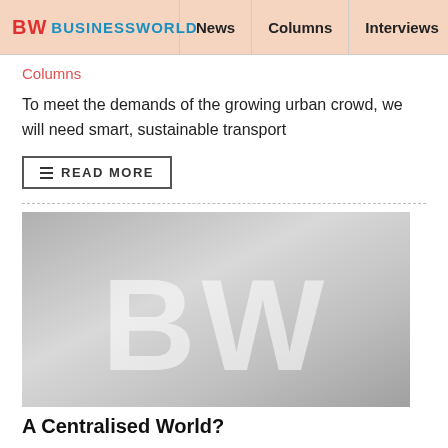BW BUSINESSWORLD | News | Columns | Interviews | BW
Columns
To meet the demands of the growing urban crowd, we will need smart, sustainable transport
READ MORE
[Figure (logo): BW BusinessWorld placeholder image with large grey 'BW' letters on gradient grey background]
A Centralised World?